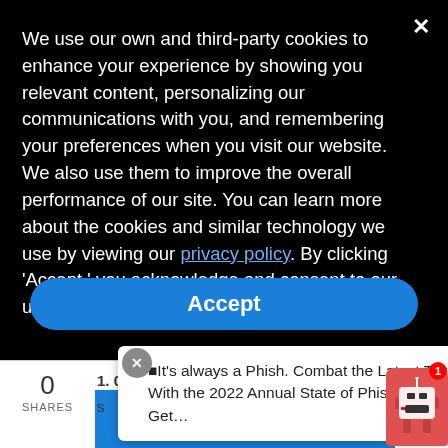We use our own and third-party cookies to enhance your experience by showing you relevant content, personalizing our communications with you, and remembering your preferences when you visit our website. We also use them to improve the overall performance of our site. You can learn more about the cookies and similar technology we use by viewing our privacy policy. By clicking ‘Accept,’ you acknowledge and consent to our use of all cookies on our website.
Accept
1. 0
s
0
SHARES
■It’s always a Phish. Combat the Latest Threats With the 2022 Annual State of Phishing Report. Get…